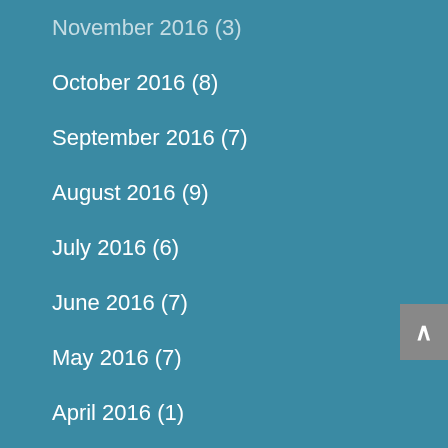November 2016 (3)
October 2016 (8)
September 2016 (7)
August 2016 (9)
July 2016 (6)
June 2016 (7)
May 2016 (7)
April 2016 (1)
March 2016 (4)
February 2016 (5)
January 2016 (4)
December 2015 (5)
November 2015 (4)
October 2015 (5)
September 2015 (5)
August 2015 (6)